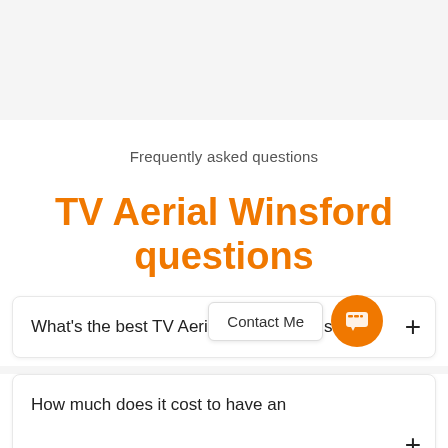Frequently asked questions
TV Aerial Winsford questions
What's the best TV Aerial to use in Winsford?
How much does it cost to have an